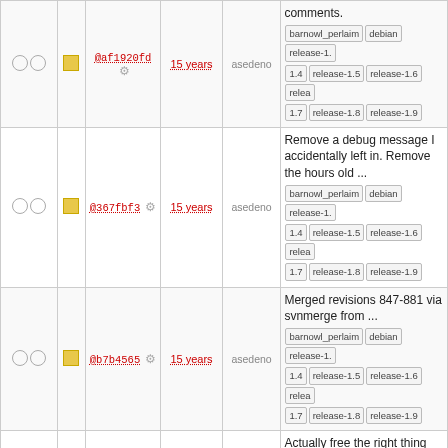|  |  | hash | age | author | description |
| --- | --- | --- | --- | --- | --- |
| ○ ○ | □ | @af1920fd | 15 years | asedeno | comments. barnowl_perlaim debian release-1.4 release-1.5 release-1.6 release-1.7 release-1.8 release-1.9 |
| ○ ○ | □ | @367fbf3 | 15 years | asedeno | Remove a debug message I accidentally left in. Remove the hours old ... barnowl_perlaim debian release-1.4 release-1.5 release-1.6 release-1.7 release-1.8 release-1.9 |
| ○ ○ | □ | @b7b4565 | 15 years | asedeno | Merged revisions 847-881 via svnmerge from ... barnowl_perlaim debian release-1.4 release-1.5 release-1.6 release-1.7 release-1.8 release-1.9 |
| ○ ○ | □ | @ff13a6f | 15 years | nelhage | Actually free the right thing when freeing perl commands barnowl_perlaim debian release-1.4 release-1.5 release-1.6 release-1.7 release-1.8 release-1.9 |
| ○ ○ | □ | @5376a95 | 15 years | asedeno | First pass at incoming zephyr - UTF-8 sanitizing. This only operates ... barnowl_perlaim debian release-1.4 release-1.5 release-1.6 release-1.7 release-1.8 release-1.9 |
| ○ ○ | □ | @ad15610 | 15 years | nelhage | Applying ctl's variable shuffling patch for better ANSI C-ness. closes #18 barnowl_perlaim debian release-1.4 release-1.5 release-1.6 release-1.7 release-1.8 release-1.9 |
| ○ ○ | □ |  |  |  | Implement hackish support for wordwrap filter in the perl style... |